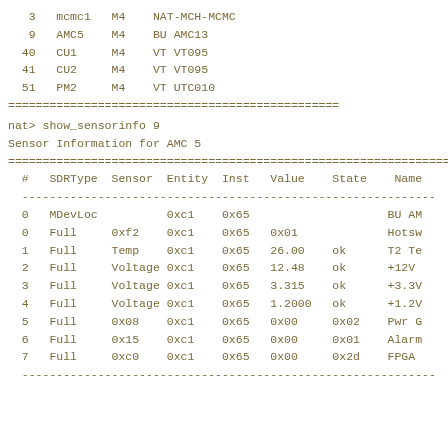| # | Name | Type | Description |
| --- | --- | --- | --- |
| 3 | mcmc1 | M4 | NAT-MCH-MCMC |
| 9 | AMC5 | M4 | BU AMC13 |
| 40 | CU1 | M4 | VT VT095 |
| 41 | CU2 | M4 | VT VT095 |
| 51 | PM2 | M4 | VT UTC010 |
================================================
nat> show_sensorinfo 9
Sensor Information for AMC 5
====================================================================
| # | SDRType | Sensor | Entity | Inst | Value | State | Name |
| --- | --- | --- | --- | --- | --- | --- | --- |
| 0 | MDevLoc |  | 0xc1 | 0x65 |  |  | BU AM |
| 0 | Full | 0xf2 | 0xc1 | 0x65 | 0x01 |  | Hotsw |
| 1 | Full | Temp | 0xc1 | 0x65 | 26.00 | ok | T2 Te |
| 2 | Full | Voltage | 0xc1 | 0x65 | 12.48 | ok | +12V |
| 3 | Full | Voltage | 0xc1 | 0x65 | 3.315 | ok | +3.3V |
| 4 | Full | Voltage | 0xc1 | 0x65 | 1.2000 | ok | +1.2V |
| 5 | Full | 0x08 | 0xc1 | 0x65 | 0x00 | 0x02 | Pwr G |
| 6 | Full | 0x15 | 0xc1 | 0x65 | 0x00 | 0x01 | Alarm |
| 7 | Full | 0xc0 | 0xc1 | 0x65 | 0x00 | 0x2d | FPGA |
----------------------------------------------------